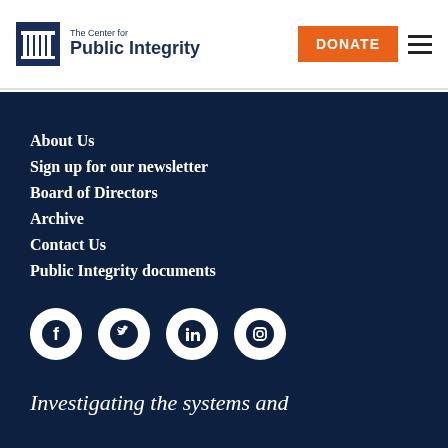The Center for Public Integrity — DONATE
About Us
Sign up for our newsletter
Board of Directors
Archive
Contact Us
Public Integrity documents
[Figure (other): Social media icons: Facebook, Twitter, LinkedIn, Instagram]
Investigating the systems and